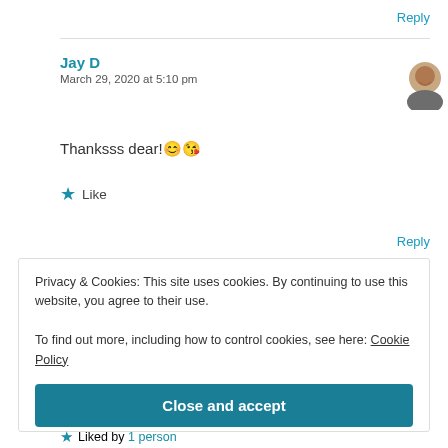Reply
Jay D
March 29, 2020 at 5:10 pm
Thanksss dear! 😊😘
★ Like
Reply
Privacy & Cookies: This site uses cookies. By continuing to use this website, you agree to their use.
To find out more, including how to control cookies, see here: Cookie Policy
Close and accept
★ Liked by 1 person